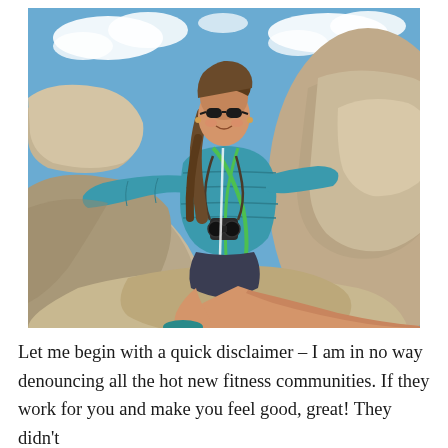[Figure (photo): A smiling woman wearing a teal/blue puffer jacket and sunglasses, sitting among large granite boulders at a mountain summit. She has a braid and is wearing dark shorts and teal shoes. Binoculars hang around her neck on a green strap. Blue sky with white clouds in the background.]
Let me begin with a quick disclaimer – I am in no way denouncing all the hot new fitness communities. If they work for you and make you feel good, great! They didn't